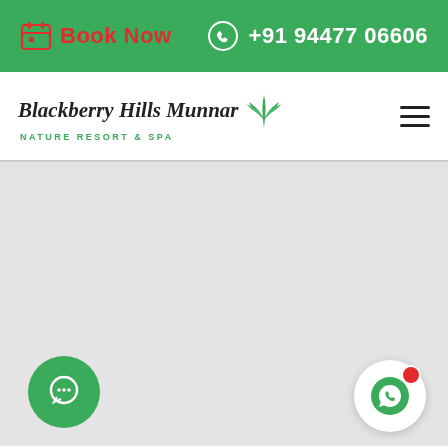Book Now  +91 94477 06606
[Figure (logo): Blackberry Hills Munnar Nature Resort & Spa logo with aloe vera plant icon]
[Figure (photo): Large grey/blank content area below navigation bar]
[Figure (other): Green circular chat button at bottom left]
[Figure (other): WhatsApp button at bottom right with red notification dot]